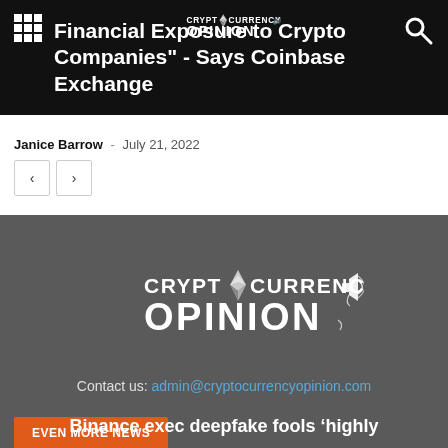Financial Exposure to Crypto Companies" - Says Coinbase Exchange
Janice Barrow - July 21, 2022
[Figure (logo): Cryptocurrency Opinion logo with Ethereum diamond icon and megaphone, white text on dark background]
Contact us: admin@cryptocurrencyopinion.com
EVEN MORE NEWS
Binance exec deepfake fools 'highly